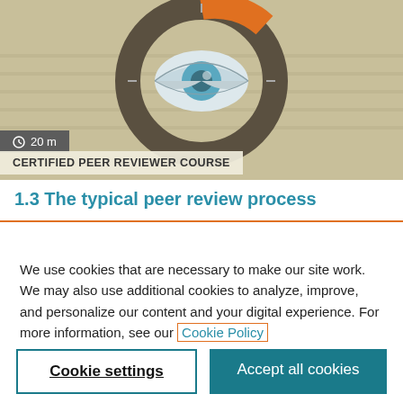[Figure (illustration): Circular ring graphic with an eye icon in the center on a beige/tan background. The ring is mostly dark brown/gray with an orange segment at the top right. Inside the ring is a stylized eye icon with light blue iris and gray highlights.]
20 m
CERTIFIED PEER REVIEWER COURSE
1.3 The typical peer review process
We use cookies that are necessary to make our site work. We may also use additional cookies to analyze, improve, and personalize our content and your digital experience. For more information, see our Cookie Policy
Cookie settings
Accept all cookies